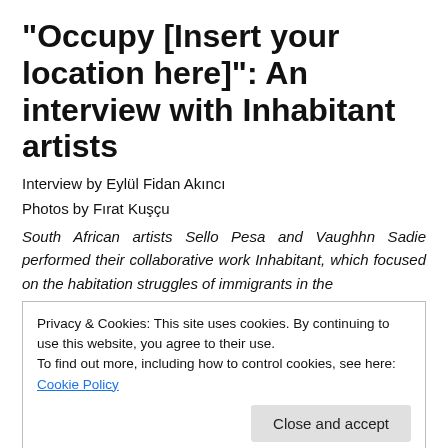“Occupy [Insert your location here]”: An interview with Inhabitant artists
Interview by Eylül Fidan Akıncı
Photos by Fırat Kuşçu
South African artists Sello Pesa and Vaughn Sadie performed their collaborative work Inhabitant, which focused on the habitation struggles of immigrants in the
Privacy & Cookies: This site uses cookies. By continuing to use this website, you agree to their use.
To find out more, including how to control cookies, see here: Cookie Policy
Close and accept
featuring artists from Istanbul as well as immigrants from